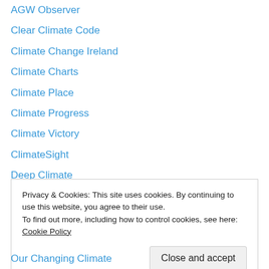AGW Observer
Clear Climate Code
Climate Change Ireland
Climate Charts
Climate Place
Climate Progress
Climate Victory
ClimateSight
Deep Climate
Deltoid
Denial Depot
From a Glaciers Perspective
Glimpse Science Network
Privacy & Cookies: This site uses cookies. By continuing to use this website, you agree to their use. To find out more, including how to control cookies, see here: Cookie Policy
Our Changing Climate